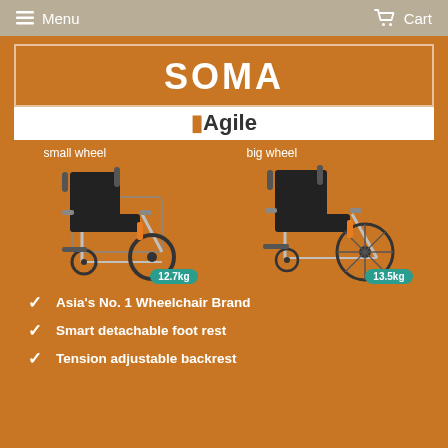Menu  Cart
SOMA
Agile
[Figure (photo): Two SOMA Agile wheelchairs side by side. Left: small wheel variant labeled '12.7kg'. Right: big wheel variant labeled '13.5kg'.]
Asia's No. 1 Wheelchair Brand
Smart detachable foot rest
Tension adjustable backrest